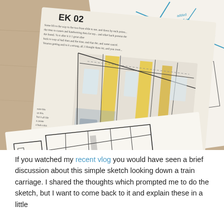[Figure (photo): Photo of hand-drawn design sketches on paper laid on a wooden table. The sketches show interior views of a train carriage, with annotations in blue text reading 'RELATIONSHIPS', 'added based on relationships', 'PERSPECTIVE CHECK'. A sketchbook page with yellow color-washed perspective drawings and a loose sheet with a simpler line sketch of a train interior are visible. The lower sketch is labeled 'DISTORTION ON THIS...' and 'CORNER PROBLEM'. Some handwritten notes appear on the left margin.]
If you watched my recent vlog you would have seen a brief discussion about this simple sketch looking down a train carriage. I shared the thoughts which prompted me to do the sketch, but I want to come back to it and explain these in a little